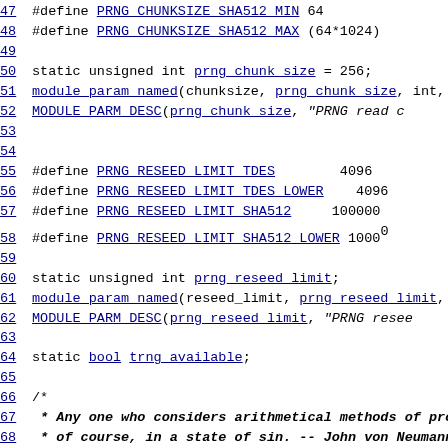47 #define PRNG_CHUNKSIZE_SHA512_MIN 64
48 #define PRNG_CHUNKSIZE_SHA512_MAX (64*1024)
49
50 static unsigned int prng_chunk_size = 256;
51 module_param_named(chunksize, prng_chunk_size, int, 0
52 MODULE_PARM_DESC(prng_chunk_size, "PRNG read c
53
54
55 #define PRNG_RESEED_LIMIT_TDES        4096
56 #define PRNG_RESEED_LIMIT_TDES_LOWER   4096
57 #define PRNG_RESEED_LIMIT_SHA512     100000
58 #define PRNG_RESEED_LIMIT_SHA512_LOWER 10000
59
60 static unsigned int prng_reseed_limit;
61 module_param_named(reseed_limit, prng_reseed_limit, in
62 MODULE_PARM_DESC(prng_reseed_limit, "PRNG resee
63
64 static bool trng_available;
65
66 /*
67  * Any one who considers arithmetical methods of pro
68  * of course, in a state of sin. -- John von Neumann
69  */
70
71 static int prng_errorflag;